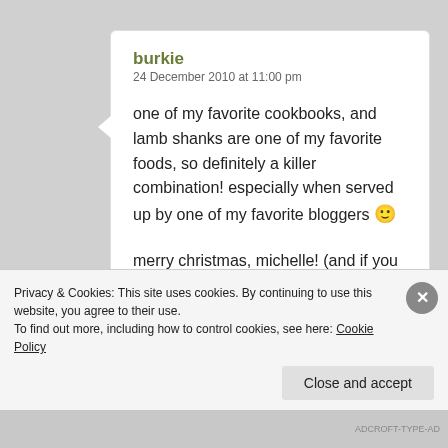burkie
24 December 2010 at 11:00 pm
one of my favorite cookbooks, and lamb shanks are one of my favorite foods, so definitely a killer combination! especially when served up by one of my favorite bloggers 🙂
merry christmas, michelle! (and if you did get a big-ass Le Creuset pot, send santa my way, will ya?)
Privacy & Cookies: This site uses cookies. By continuing to use this website, you agree to their use.
To find out more, including how to control cookies, see here: Cookie Policy
Close and accept